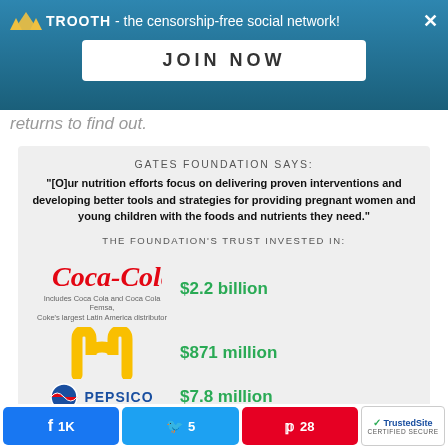[Figure (screenshot): TROOTH censorship-free social network banner with JOIN NOW button]
returns to find out.
[Figure (infographic): Gates Foundation says quote and trust investment amounts in Coca-Cola ($2.2 billion), McDonald's ($871 million), Pepsi ($7.8 million), Burger King]
[Figure (screenshot): Social share bar: Facebook 1K, Twitter 5, Pinterest 28, TrustedSite certified secure]